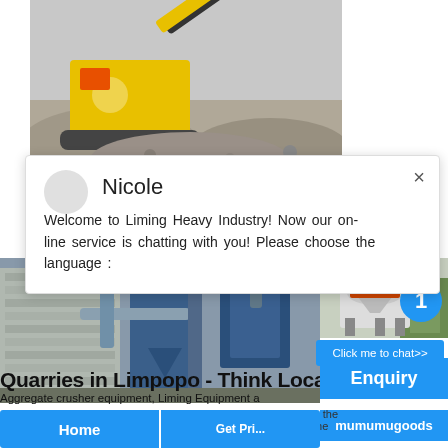[Figure (photo): Yellow mining crusher/screening machine on a pile of crushed rock/gravel, outdoor industrial site]
[Figure (screenshot): Chat popup overlay: Nicole avatar, welcome message from Liming Heavy Industry online service]
[Figure (photo): Blue industrial dust collector or grain processing equipment with pipes, outdoor installation]
[Figure (photo): White/grey cone crusher machine with blue notification circle showing number 1, right panel]
Click me to chat>>
Enquiry
mumumugoods
Quarries in Limpopo - Think Local
Aggregate crusher equipment, Liming Equipment a
Dispose the
Linpopthe